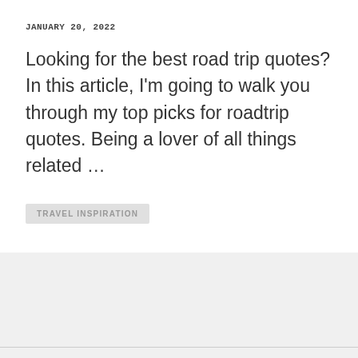JANUARY 20, 2022
Looking for the best road trip quotes? In this article, I'm going to walk you through my top picks for roadtrip quotes. Being a lover of all things related …
TRAVEL INSPIRATION